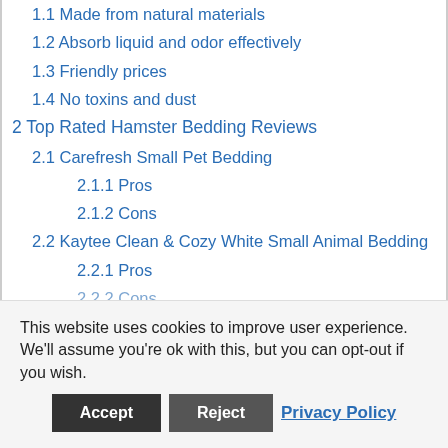1.1 Made from natural materials
1.2 Absorb liquid and odor effectively
1.3 Friendly prices
1.4 No toxins and dust
2 Top Rated Hamster Bedding Reviews
2.1 Carefresh Small Pet Bedding
2.1.1 Pros
2.1.2 Cons
2.2 Kaytee Clean & Cozy White Small Animal Bedding
2.2.1 Pros
2.2.2 Cons
This website uses cookies to improve user experience. We'll assume you're ok with this, but you can opt-out if you wish.